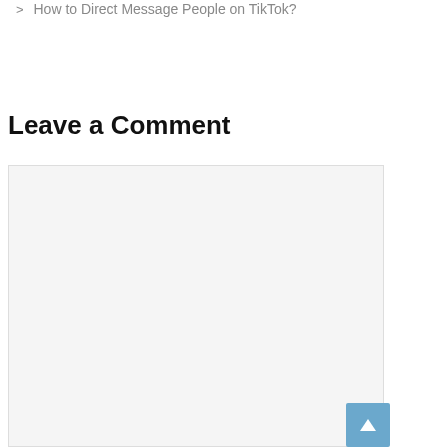> How to Direct Message People on TikTok?
Leave a Comment
[Figure (other): Empty comment text area input box with light gray background]